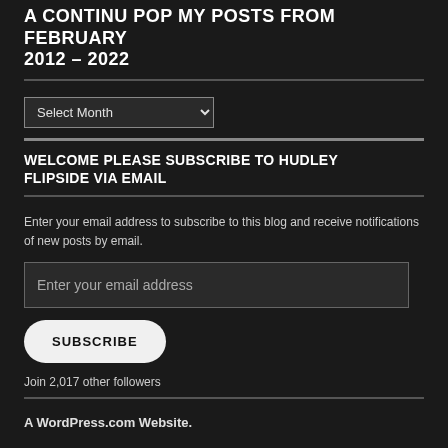A CONTINU POP MY POSTS FROM FEBRUARY 2012 – 2022
Select Month
WELCOME PLEASE SUBSCRIBE TO HUDLEY FLIPSIDE VIA EMAIL
Enter your email address to subscribe to this blog and receive notifications of new posts by email.
Enter your email address
SUBSCRIBE
Join 2,017 other followers
A WordPress.com Website.